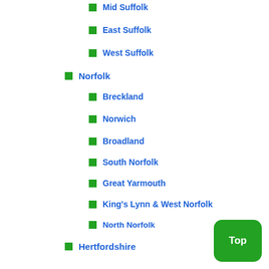Mid Suffolk
East Suffolk
West Suffolk
Norfolk
Breckland
Norwich
Broadland
South Norfolk
Great Yarmouth
King's Lynn & West Norfolk
North Norfolk
Hertfordshire
Broxbourne
Stevenage
Welwyn Hatfield